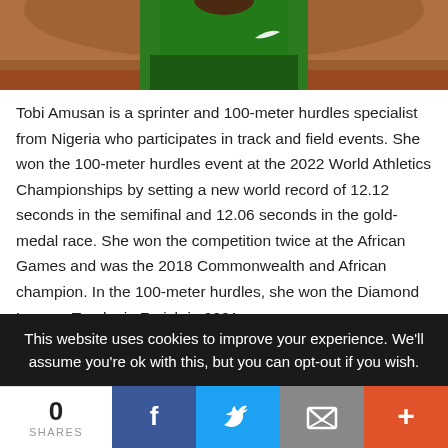[Figure (photo): Partial photo of athlete Tobi Amusan in green Nike top on a running track]
Tobi Amusan is a sprinter and 100-meter hurdles specialist from Nigeria who participates in track and field events. She won the 100-meter hurdles event at the 2022 World Athletics Championships by setting a new world record of 12.12 seconds in the semifinal and 12.06 seconds in the gold-medal race. She won the competition twice at the African Games and was the 2018 Commonwealth and African champion. In the 100-meter hurdles, she won the Diamond League Trophy in Zurich in 2021.
Read More ......
This website uses cookies to improve your experience. We'll assume you're ok with this, but you can opt-out if you wish.
0 SHARES